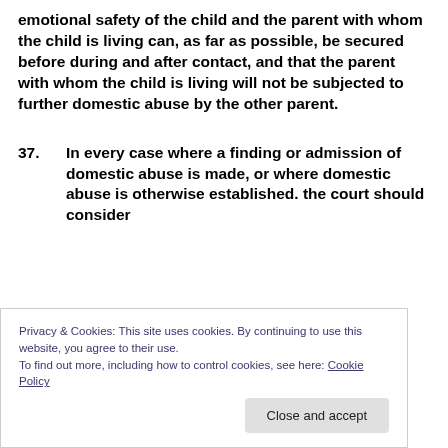emotional safety of the child and the parent with whom the child is living can, as far as possible, be secured before during and after contact, and that the parent with whom the child is living will not be subjected to further domestic abuse by the other parent.
37. In every case where a finding or admission of domestic abuse is made, or where domestic abuse is otherwise established. the court should consider
Privacy & Cookies: This site uses cookies. By continuing to use this website, you agree to their use.
To find out more, including how to control cookies, see here: Cookie Policy